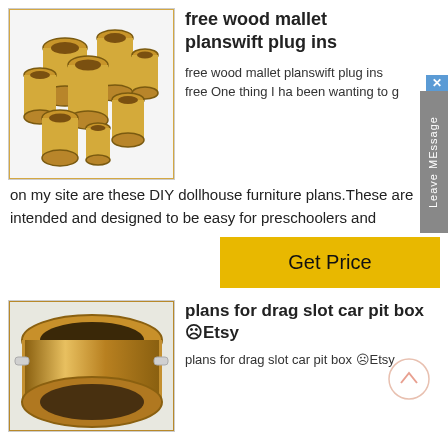[Figure (photo): Multiple brass/gold cylindrical tube bushings of various sizes arranged in a group, shown against white background, inside a bordered box.]
free wood mallet planswift plug ins
free wood mallet planswift plug ins free One thing I ha been wanting to g on my site are these DIY dollhouse furniture plans.These are intended and designed to be easy for preschoolers and
[Figure (other): Yellow 'Get Price' button]
[Figure (photo): A large round gold/brass ring or bushing viewed from above at an angle, showing metallic surface.]
plans for drag slot car pit box ☹Etsy
plans for drag slot car pit box ☹Etsy